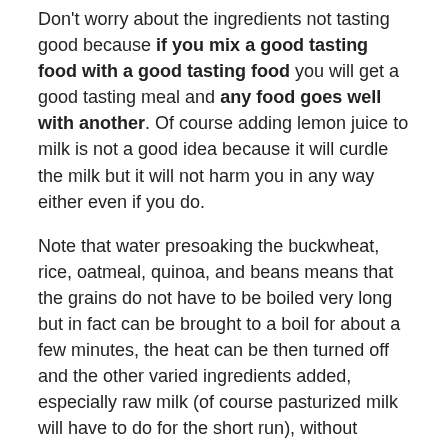Don't worry about the ingredients not tasting good because if you mix a good tasting food with a good tasting food you will get a good tasting meal and any food goes well with another. Of course adding lemon juice to milk is not a good idea because it will curdle the milk but it will not harm you in any way either even if you do.
Note that water presoaking the buckwheat, rice, oatmeal, quinoa, and beans means that the grains do not have to be boiled very long but in fact can be brought to a boil for about a few minutes, the heat can be then turned off and the other varied ingredients added, especially raw milk (of course pasturized milk will have to do for the short run), without having to boil the added raw ingredients at all. The food can then be eaten at body temperature which is the ideal temperature for a full flavor experience.